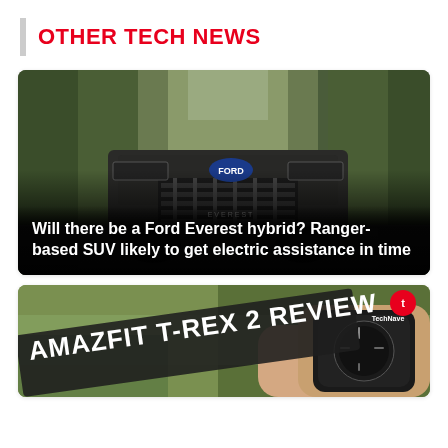OTHER TECH NEWS
[Figure (photo): Front view of a Ford Everest SUV on a forest road, with trees in the background]
Will there be a Ford Everest hybrid? Ranger-based SUV likely to get electric assistance in time
[Figure (photo): Amazfit T-Rex 2 Review banner image showing a smartwatch on wrist with review title text and TechNave logo]